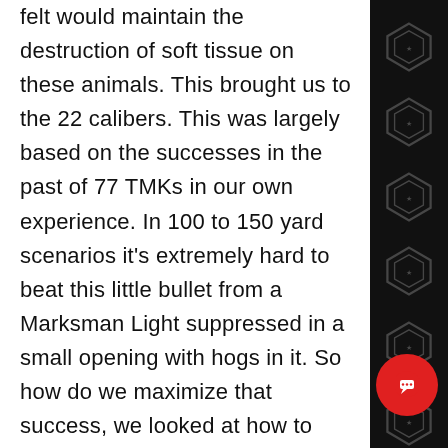felt would maintain the destruction of soft tissue on these animals. This brought us to the 22 calibers. This was largely based on the successes in the past of 77 TMKs in our own experience. In 100 to 150 yard scenarios it's extremely hard to beat this little bullet from a Marksman Light suppressed in a small opening with hogs in it. So how do we maximize that success, we looked at how to extend that range past where it is effective in the 223. We noticed that when we passed the 150-yard mark the effects of these proje dropped off quickly. So we decided